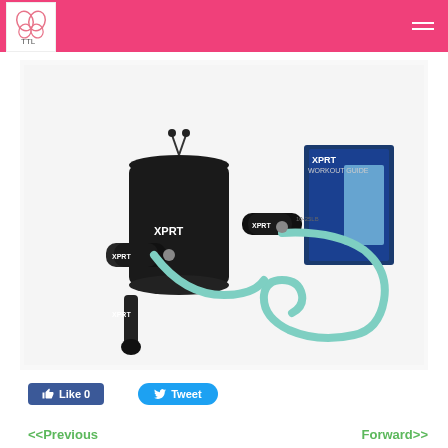TTL logo and navigation header
[Figure (photo): XPRT fitness resistance band set with black carrying bag, two foam handles, a door anchor, mint green resistance band, and a workout guide booklet, displayed on a white background.]
Like 0   Tweet
<<Previous   Forward>>